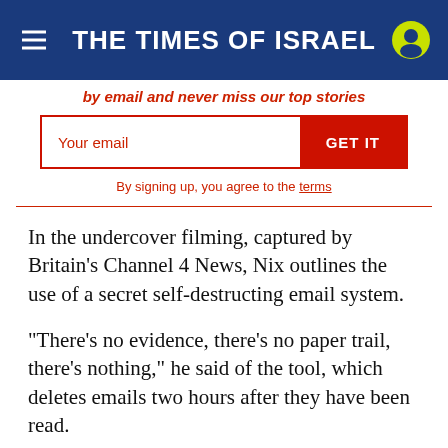THE TIMES OF ISRAEL
by email and never miss our top stories
[Figure (other): Email signup form with text input and GET IT button]
By signing up, you agree to the terms
In the undercover filming, captured by Britain’s Channel 4 News, Nix outlines the use of a secret self-destructing email system.
“There’s no evidence, there’s no paper trail, there’s nothing,” he said of the tool, which deletes emails two hours after they have been read.
Nix also slights US representatives on the House Intelligence Committee to whom he gave evidence